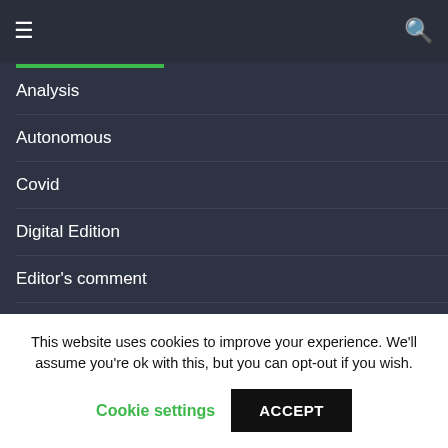≡  🔍
Analysis
Autonomous
Covid
Digital Edition
Editor's comment
EV
Finance
Hydrogen
This website uses cookies to improve your experience. We'll assume you're ok with this, but you can opt-out if you wish.
Cookie settings  ACCEPT